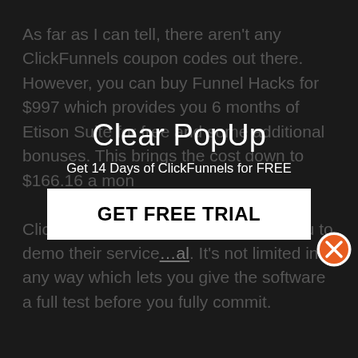As far as I can tell, there aren't any ClickFunnels coupon codes out there. However, you can buy Funnel Hacks for $997 which provides you 6 months of Etison Suite for free and some additional bonuses. This brings the cost down to $166.16 a mon...
ClickFunnels does make it easy for you to demo their service... It's not limited in any way which lets you give the software a full test before you fully commit.
If $97 or $297 a month sounds like too big a commitment for your present budget, there's also a semi-secret, unadvertised Share Funnel
[Figure (other): Popup overlay with title 'Clear PopUp', subtitle 'Get 14 Days of ClickFunnels for FREE', and a white GET FREE TRIAL button. An orange X close button appears in the top-right corner.]